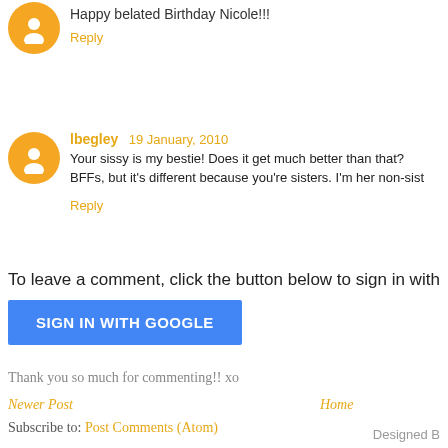Happy belated Birthday Nicole!!!
Reply
lbegley  19 January, 2010
Your sissy is my bestie! Does it get much better than that? BFFs, but it's different because you're sisters. I'm her non-sis...
Reply
To leave a comment, click the button below to sign in with
SIGN IN WITH GOOGLE
Thank you so much for commenting!! xo
Newer Post
Home
Subscribe to: Post Comments (Atom)
Designed B